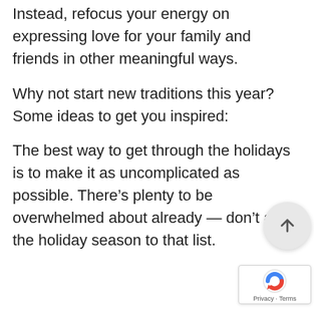Instead, refocus your energy on expressing love for your family and friends in other meaningful ways.
Why not start new traditions this year? Some ideas to get you inspired:
The best way to get through the holidays is to make it as uncomplicated as possible. There’s plenty to be overwhelmed about already — don’t add the holiday season to that list.